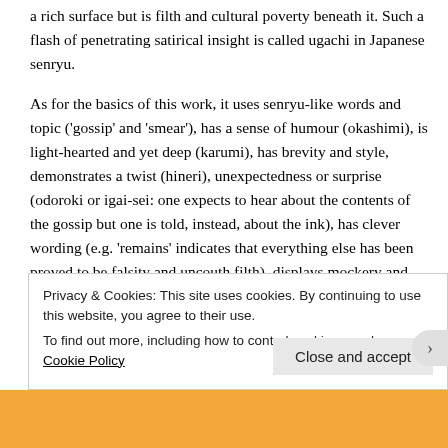a rich surface but is filth and cultural poverty beneath it. Such a flash of penetrating satirical insight is called ugachi in Japanese senryu.
As for the basics of this work, it uses senryu-like words and topic ('gossip' and 'smear'), has a sense of humour (okashimi), is light-hearted and yet deep (karumi), has brevity and style, demonstrates a twist (hineri), unexpectedness or surprise (odoroki or igai-sei: one expects to hear about the contents of the gossip but one is told, instead, about the ink), has clever wording (e.g. 'remains' indicates that everything else has been proved to be falsity and uncouth filth), displays mockery and satire, and
Privacy & Cookies: This site uses cookies. By continuing to use this website, you agree to their use.
To find out more, including how to control cookies, see here: Cookie Policy